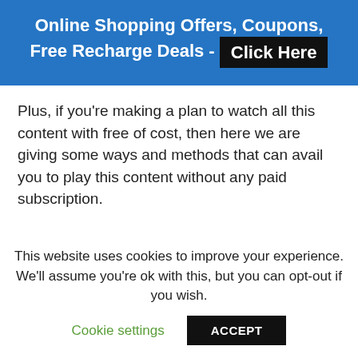Online Shopping Offers, Coupons, Free Recharge Deals - Click Here
Plus, if you're making a plan to watch all this content with free of cost, then here we are giving some ways and methods that can avail you to play this content without any paid subscription.
This website uses cookies to improve your experience. We'll assume you're ok with this, but you can opt-out if you wish.